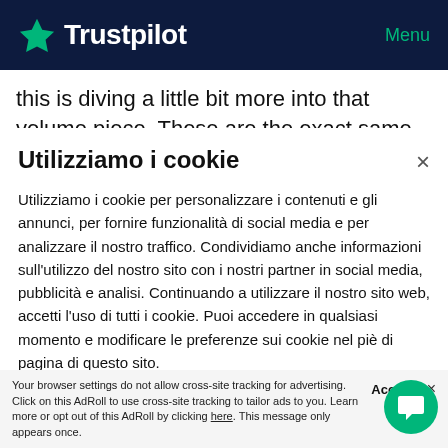Trustpilot  Menu
this is diving a little bit more into that volume piece. These are the exact same 3.4 star rating, the only thing buried here is the number of reviews. You can see that, for me, what was interesting is that really the biggest impact comes between zero and one review, and then one review
Utilizziamo i cookie
Utilizziamo i cookie per personalizzare i contenuti e gli annunci, per fornire funzionalità di social media e per analizzare il nostro traffico. Condividiamo anche informazioni sull'utilizzo del nostro sito con i nostri partner in social media, pubblicità e analisi. Continuando a utilizzare il nostro sito web, accetti l'uso di tutti i cookie. Puoi accedere in qualsiasi momento e modificare le preferenze sui cookie nel piè di pagina di questo sito.
Your browser settings do not allow cross-site tracking for advertising. Click on this AdRoll to use cross-site tracking to tailor ads to you. Learn more or opt out of this AdRoll by clicking here. This message only appears once.